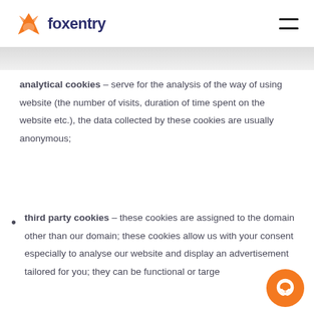[Figure (logo): Foxentry logo with orange fox icon and dark blue text 'foxentry']
analytical cookies – serve for the analysis of the way of using website (the number of visits, duration of time spent on the website etc.), the data collected by these cookies are usually anonymous;
third party cookies – these cookies are assigned to the domain other than our domain; these cookies allow us with your consent especially to analyse our website and display an advertisement tailored for you; they can be functional or targe...